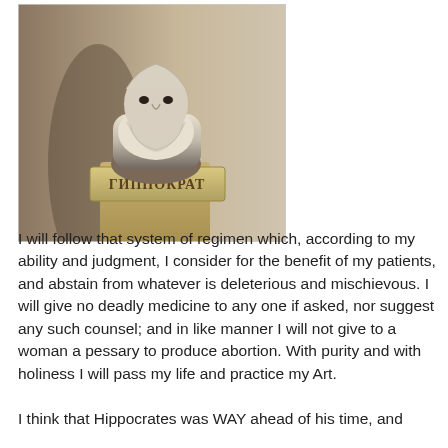[Figure (photo): Sepia-toned photograph of a marble bust of Hippocrates on a pedestal. The pedestal has Cyrillic text reading ГИППОКРАТ (Hippocrates). The bust shows an elderly bearded man.]
I will follow that system of regimen which, according to my ability and judgment, I consider for the benefit of my patients, and abstain from whatever is deleterious and mischievous. I will give no deadly medicine to any one if asked, nor suggest any such counsel; and in like manner I will not give to a woman a pessary to produce abortion. With purity and with holiness I will pass my life and practice my Art.
I think that Hippocrates was WAY ahead of his time, and